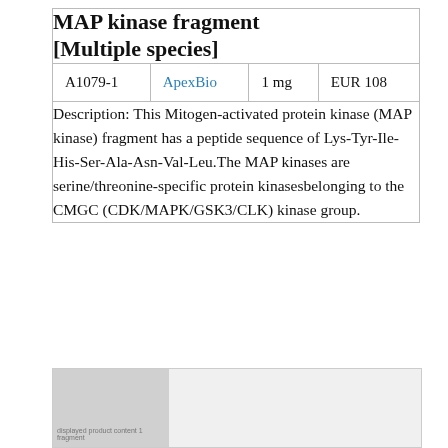MAP kinase fragment [Multiple species]
| ID | Supplier | Quantity | Price |
| --- | --- | --- | --- |
| A1079-1 | ApexBio | 1 mg | EUR 108 |
Description: This Mitogen-activated protein kinase (MAP kinase) fragment has a peptide sequence of Lys-Tyr-Ile-His-Ser-Ala-Asn-Val-Leu.The MAP kinases are serine/threonine-specific protein kinasesbelonging to the CMGC (CDK/MAPK/GSK3/CLK) kinase group.
[Figure (other): Partial screenshot of a website or catalog page at the bottom of the document, showing a grey left panel with small text and a lighter right panel.]